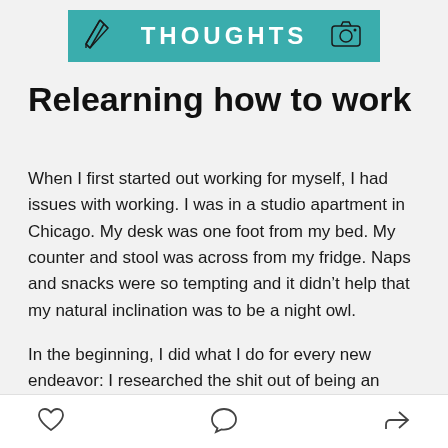[Figure (logo): Teal/green banner with the word THOUGHTS in white bold letters, pencil icon on the left, camera icon on the right]
Relearning how to work
When I first started out working for myself, I had issues with working. I was in a studio apartment in Chicago. My desk was one foot from my bed. My counter and stool was across from my fridge. Naps and snacks were so tempting and it didn't help that my natural inclination was to be a night owl.
In the beginning, I did what I do for every new endeavor: I researched the shit out of being an entrepreneur. The best productivity hacks. The best
heart icon | comment icon | share icon